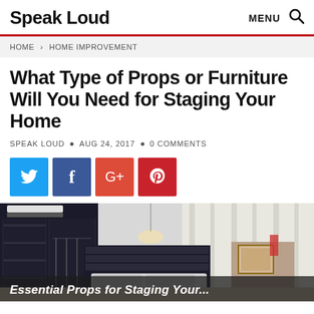Speak Loud
HOME > HOME IMPROVEMENT
What Type of Props or Furniture Will You Need for Staging Your Home
SPEAK LOUD • AUG 24, 2017 • 0 COMMENTS
[Figure (infographic): Social share buttons: Twitter (blue), Facebook (dark blue), Google+ (red-orange), Pinterest (red)]
[Figure (photo): Bedroom with dark furniture including wardrobe and bed, white curtains in background]
Essential Props for Staging Your...